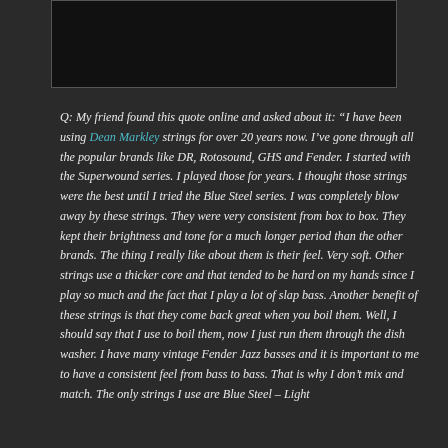[Figure (photo): Dark/black image box at the top of the page]
Q: My friend found this quote online and asked about it: “I have been using Dean Markley strings for over 20 years now. I’ve gone through all the popular brands like DR, Rotosound, GHS and Fender. I started with the Superwound series. I played those for years. I thought those strings were the best until I tried the Blue Steel series. I was completely blow away by these strings. They were very consistent from box to box. They kept their brightness and tone for a much longer period than the other brands. The thing I really like about them is their feel. Very soft. Other strings use a thicker core and that tended to be hard on my hands since I play so much and the fact that I play a lot of slap bass. Another benefit of these strings is that they come back great when you boil them. Well, I should say that I use to boil them, now I just run them through the dish washer. I have many vintage Fender Jazz basses and it is important to me to have a consistent feel from bass to bass. That is why I don’t mix and match. The only strings I use are Blue Steel – Light